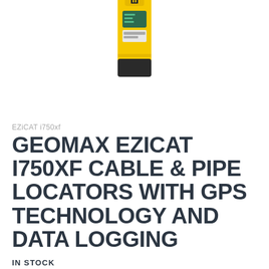[Figure (photo): Product photo of GeoMax EZiCAT i750xf cable and pipe locator device — yellow and black handheld unit with display screen, partially cropped at top of page]
EZiCAT i750xf
GEOMAX EZICAT I750XF CABLE & PIPE LOCATORS WITH GPS TECHNOLOGY AND DATA LOGGING
IN STOCK
$1,998.00
Be the first to review t...